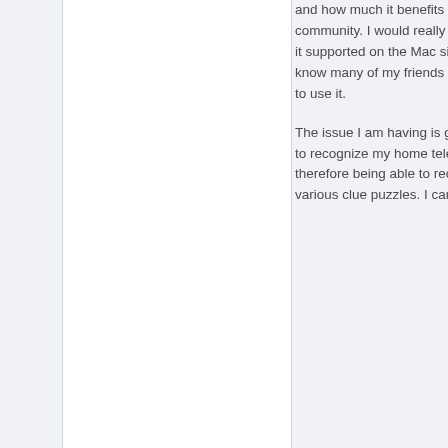and how much it benefits the community. I would really like to see it supported on the Mac side as I know many of my friends would love to use it.
The issue I am having is getting Alt 1 to recognize my home teleport and therefore being able to recognise various clue puzzles. I can